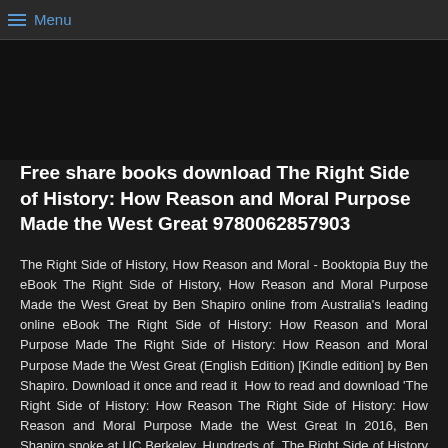Menu
Free share books download The Right Side of History: How Reason and Moral Purpose Made the West Great 9780062857903
The Right Side of History, How Reason and Moral - Booktopia Buy the eBook The Right Side of History, How Reason and Moral Purpose Made the West Great by Ben Shapiro online from Australia's leading online eBook The Right Side of History: How Reason and Moral Purpose Made The Right Side of History: How Reason and Moral Purpose Made the West Great (English Edition) [Kindle edition] by Ben Shapiro. Download it once and read it  How to read and download 'The Right Side of History: How Reason The Right Side of History: How Reason and Moral Purpose Made the West Great In 2016, Ben Shapiro spoke at UC Berkeley. Hundreds of  The Right Side of History eBook by Ben Shapiro - 9780062857927 Read "The Right Side of History How Reason and Moral Purpose Made the West Great" by Ben Shapiro available from Rakuten Kobo. Sign up today and get $5 Download Ebook The Right Side of History: How Reason and Moral See